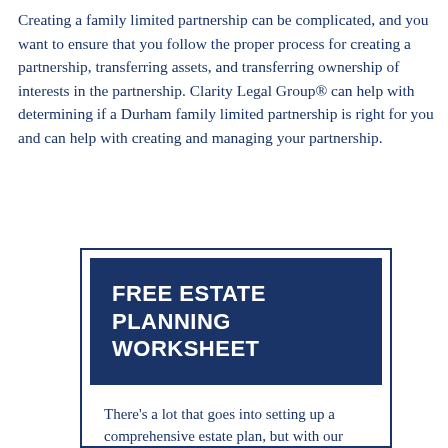Creating a family limited partnership can be complicated, and you want to ensure that you follow the proper process for creating a partnership, transferring assets, and transferring ownership of interests in the partnership. Clarity Legal Group® can help with determining if a Durham family limited partnership is right for you and can help with creating and managing your partnership.
[Figure (infographic): Promotional box with dark navy blue border and header. Header reads 'FREE ESTATE PLANNING WORKSHEET' in white bold text on navy background. Body text begins: 'There’s a lot that goes into setting up a comprehensive estate plan, but with our FREE worksheet, you’ll be one...']